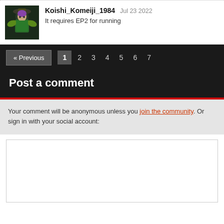[Figure (illustration): Avatar image of Koishi_Komeiji_1984 showing anime character with green clothes and hat on dark background]
Koishi_Komeiji_1984 Jul 23 2022
It requires EP2 for running
« Previous  1  2  3  4  5  6  7
Post a comment
Your comment will be anonymous unless you join the community. Or sign in with your social account:
[Figure (other): Comment text input textarea (empty white box)]